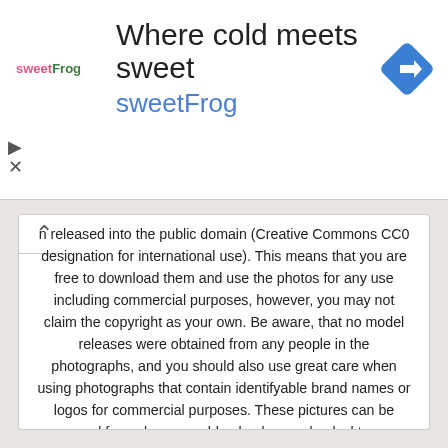[Figure (screenshot): SweetFrog advertisement banner with logo, tagline 'Where cold meets sweet', brand name 'sweetFrog', and a blue navigation/directions icon]
released into the public domain (Creative Commons CC0 designation for international use). This means that you are free to download them and use the photos for any use including commercial purposes, however, you may not claim the copyright as your own. Be aware, that no model releases were obtained from any people in the photographs, and you should also use great care when using photographs that contain identifyable brand names or logos for commercial purposes. These pictures can be used for web page or blog backgrounds, desktop wallpapers, scrapbooking, web or print clip art, commercial publication, as textures for Photoshop or any other use. Some of the photos are high resolution and others are not. Most are straight from the camera although some have been colorized. Photo credits and linkbacks are never required but always appreciated. New photographs are added every day so check back often and enjoy using these free pictures!